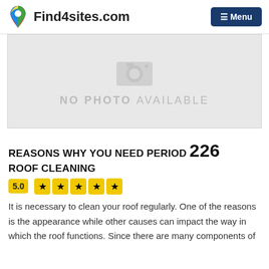Find4sites.com  Menu
[Figure (photo): No photo available placeholder image with camera icon and text 'NO PHOTO AVAILABLE']
REASONS WHY YOU NEED PERIOD 226 ROOF CLEANING
5.0  ★★★★★
It is necessary to clean your roof regularly. One of the reasons is the appearance while other causes can impact the way in which the roof functions. Since there are many components of